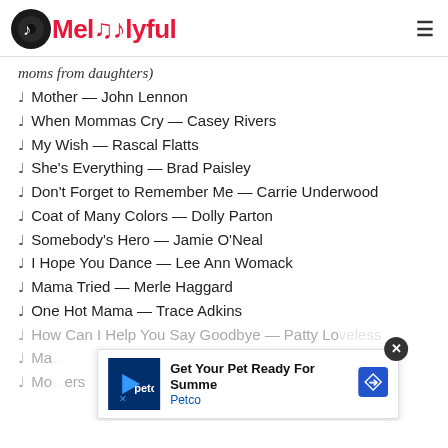Melodyful
moms from daughters)
♩ Mother — John Lennon
♩ When Mommas Cry — Casey Rivers
♩ My Wish — Rascal Flatts
♩ She's Everything — Brad Paisley
♩ Don't Forget to Remember Me — Carrie Underwood
♩ Coat of Many Colors — Dolly Parton
♩ Somebody's Hero — Jamie O'Neal
♩ I Hope You Dance — Lee Ann Womack
♩ Mama Tried — Merle Haggard
♩ One Hot Mama — Trace Adkins
♩ How Can I Help You Say Goodbye — Patty Loveless
♩ Ma...
♩ Mo...ers
[Figure (other): Petco advertisement banner: Get Your Pet Ready For Summer — Petco]